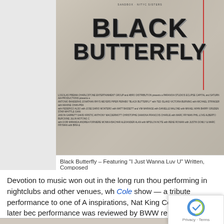[Figure (photo): Movie poster for 'Black Butterfly' showing large distressed black text title on a weathered/textured background with film credits in small text below]
Black Butterfly – Featuring “I Just Wanna Luv U” Written, Composed
Devotion to music won out in the long run though, performing in nightclubs and other venues, where Cole show — a tribute performance to one of A inspirations, Nat King Cole. The show later bec performance was reviewed by BWW reporter D described as “striking and charismatic, Akins d to have an uncanny ability to produce the same stylings of Nat King Cole.” He was also billed a really cares about his audience” and makes his and friendly with humorous anecdotes around the LA musical scene between